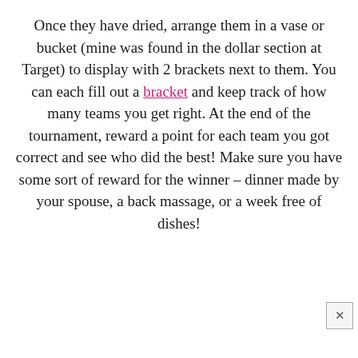Once they have dried, arrange them in a vase or bucket (mine was found in the dollar section at Target) to display with 2 brackets next to them. You can each fill out a bracket and keep track of how many teams you get right. At the end of the tournament, reward a point for each team you got correct and see who did the best! Make sure you have some sort of reward for the winner – dinner made by your spouse, a back massage, or a week free of dishes!